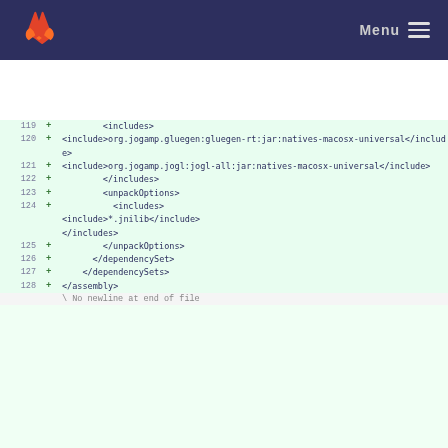GitLab Menu
[Figure (screenshot): GitLab diff view showing XML assembly file lines 119-128 with added lines for Maven assembly configuration including includes for jogamp gluegen and jogl native macOS universal jars, unpackOptions with jnilib includes, and closing assembly tags. Last line shows 'No newline at end of file'.]